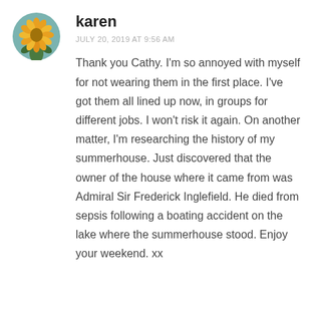[Figure (photo): Circular avatar photo of a yellow-orange flower (protea or similar) on a blue-green background]
karen
JULY 20, 2019 AT 9:56 AM
Thank you Cathy. I'm so annoyed with myself for not wearing them in the first place. I've got them all lined up now, in groups for different jobs. I won't risk it again. On another matter, I'm researching the history of my summerhouse. Just discovered that the owner of the house where it came from was Admiral Sir Frederick Inglefield. He died from sepsis following a boating accident on the lake where the summerhouse stood. Enjoy your weekend. xx